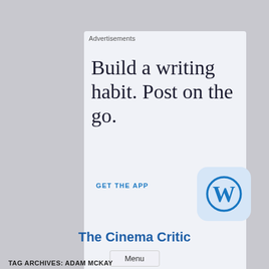Advertisements
[Figure (other): Faint movie poster collage background image behind the main content]
Build a writing habit. Post on the go.
GET THE APP
[Figure (logo): WordPress app icon: blue W logo on light blue rounded rectangle background]
REPORT THIS AD
The Cinema Critic
Menu
TAG ARCHIVES: ADAM MCKAY